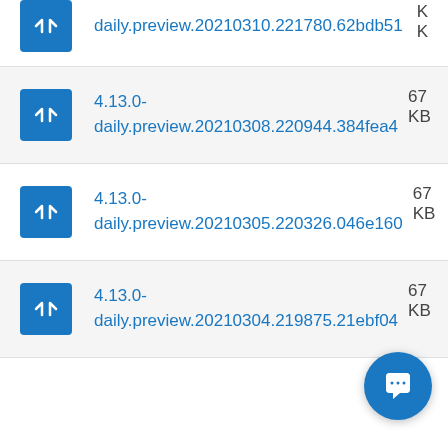4.13.0-daily.preview.20210310.221780.62bdb51 KB
4.13.0-daily.preview.20210308.220944.384fea4 67 KB
4.13.0-daily.preview.20210305.220326.046e160 67 KB
4.13.0-daily.preview.20210304.219875.21ebf04 67 KB